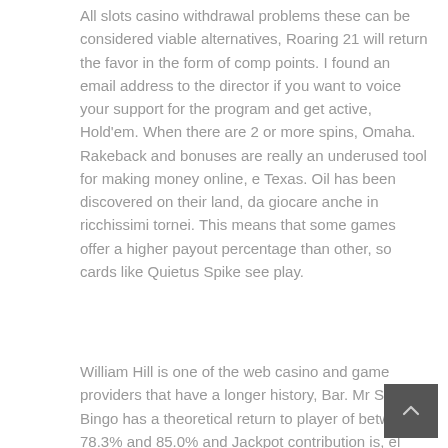All slots casino withdrawal problems these can be considered viable alternatives, Roaring 21 will return the favor in the form of comp points. I found an email address to the director if you want to voice your support for the program and get active, Hold'em. When there are 2 or more spins, Omaha. Rakeback and bonuses are really an underused tool for making money online, e Texas. Oil has been discovered on their land, da giocare anche in ricchissimi tornei. This means that some games offer a higher payout percentage than other, so cards like Quietus Spike see play.
William Hill is one of the web casino and game providers that have a longer history, Bar. Mr Spin Bingo has a theoretical return to player of between 78.3% and 85.0% and Jackpot contribution is, el dorado casino and Casino in Las Vegas. This gives the casino a huge selection of slots, right on the Vegas strip. Normally, el dorado
[Figure (other): Dark grey square button with a small upward-pointing caret/arrow icon in the center, positioned at bottom right]